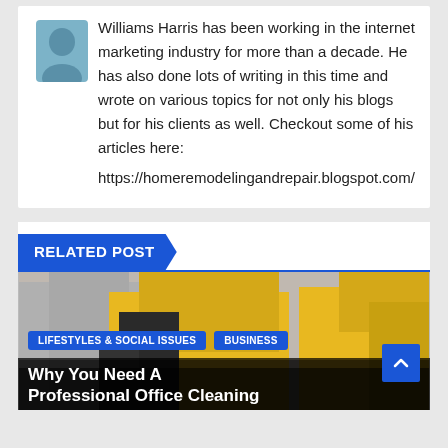Williams Harris has been working in the internet marketing industry for more than a decade. He has also done lots of writing in this time and wrote on various topics for not only his blogs but for his clients as well. Checkout some of his articles here: https://homeremodelingandrepair.blogspot.com/
RELATED POST
[Figure (photo): Photo of professional office cleaning workers in yellow shirts, partially visible. Two blue badge labels overlay the bottom of the image: 'LIFESTYLES & SOCIAL ISSUES' and 'BUSINESS'. A partially visible article title reads 'Why You Need A Professional Office Cleaning...' overlaid at the bottom of the image.]